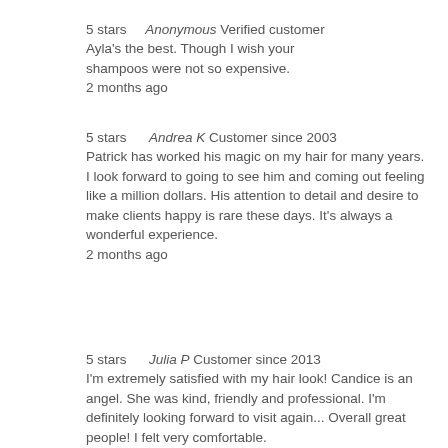5 stars    Anonymous Verified customer
Ayla's the best. Though I wish your shampoos were not so expensive.
2 months ago
5 stars     Andrea K Customer since 2003
Patrick has worked his magic on my hair for many years. I look forward to going to see him and coming out feeling like a million dollars. His attention to detail and desire to make clients happy is rare these days. It's always a wonderful experience.
2 months ago
5 stars     Julia P Customer since 2013
I'm extremely satisfied with my hair look! Candice is an angel. She was kind, friendly and professional. I'm definitely looking forward to visit again... Overall great people! I felt very comfortable.